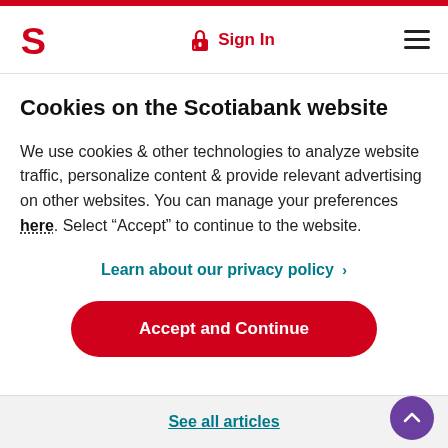Scotiabank header with logo, Sign In, and hamburger menu
Cookies on the Scotiabank website
We use cookies & other technologies to analyze website traffic, personalize content & provide relevant advertising on other websites. You can manage your preferences here. Select “Accept” to continue to the website.
Learn about our privacy policy ›
Accept and Continue
See all articles